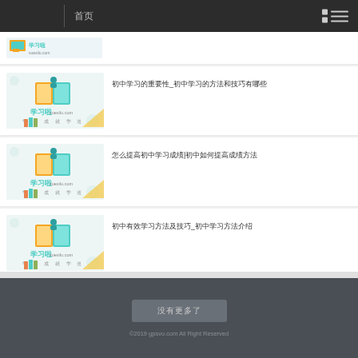首页
[Figure (screenshot): 学习啦 logo thumbnail - partial view at top]
[Figure (screenshot): 学习啦 xuexilu.com logo with text 学习成就学道]
初中学习的重要性_初中学习的方法和技巧有哪些
[Figure (screenshot): 学习啦 xuexilu.com logo with text 学习成就学道]
怎么提高初中学习成绩|初中如何提高成绩方法
[Figure (screenshot): 学习啦 xuexilu.com logo with text 学习成就学道]
初中有效学习方法及技巧_初中学习方法介绍
没有更多了    ©2019 gpsvo.com All Right Reserved